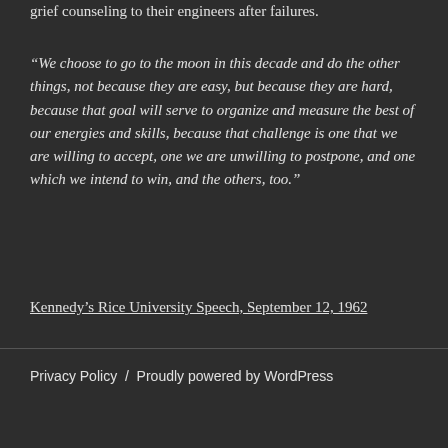grief counseling to their engineers after failures.
“We choose to go to the moon in this decade and do the other things, not because they are easy, but because they are hard, because that goal will serve to organize and measure the best of our energies and skills, because that challenge is one that we are willing to accept, one we are unwilling to postpone, and one which we intend to win, and the others, too."
Kennedy’s Rice University Speech, September 12, 1962
Privacy Policy  /  Proudly powered by WordPress